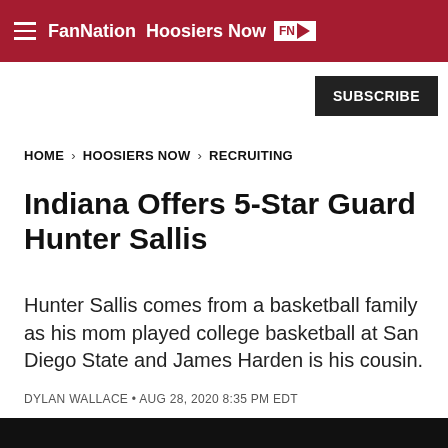FanNation Hoosiers Now
SUBSCRIBE
HOME > HOOSIERS NOW > RECRUITING
Indiana Offers 5-Star Guard Hunter Sallis
Hunter Sallis comes from a basketball family as his mom played college basketball at San Diego State and James Harden is his cousin.
DYLAN WALLACE • AUG 28, 2020 8:35 PM EDT